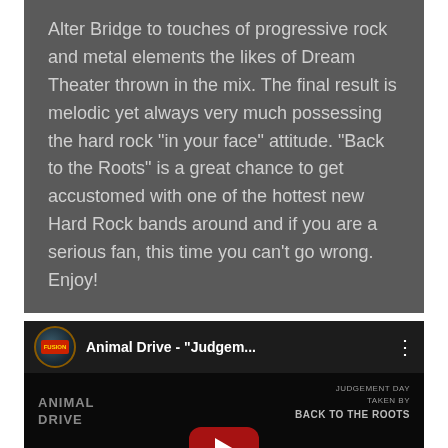Alter Bridge to touches of progressive rock and metal elements the likes of Dream Theater thrown in the mix. The final result is melodic yet always very much possessing the hard rock "in your face" attitude. "Back to the Roots" is a great chance to get accustomed with one of the hottest new Hard Rock bands around and if you are a serious fan, this time you can't go wrong. Enjoy!
[Figure (screenshot): YouTube video embed showing Animal Drive - 'Judgem...' with channel icon, video title bar, and thumbnail with YouTube play button overlay on dark background.]